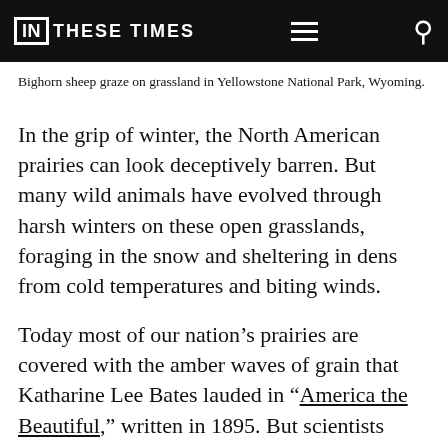IN THESE TIMES
Bighorn sheep graze on grassland in Yellowstone National Park, Wyoming.
In the grip of winter, the North American prairies can look deceptively barren. But many wild animals have evolved through harsh winters on these open grasslands, foraging in the snow and sheltering in dens from cold temperatures and biting winds.
Today most of our nation’s prairies are covered with the amber waves of grain that Katharine Lee Bates lauded in “America the Beautiful,” written in 1895. But scientists know surprisingly little about today’s